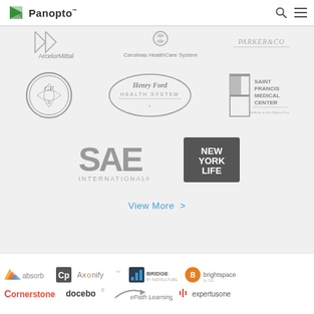[Figure (logo): Panopto logo with green play button icon and text]
[Figure (logo): ArcelorMittal logo (partially visible at top)]
[Figure (logo): Carolinas HealthCare System logo]
[Figure (logo): Parker & Co logo (partially visible)]
[Figure (logo): GE (General Electric) circular logo]
[Figure (logo): Henry Ford Health System logo]
[Figure (logo): Saint Francis Medical Center logo]
[Figure (logo): SAE International logo]
[Figure (logo): New York Life logo in black box]
View More >
[Figure (logo): Absorb LMS logo]
[Figure (logo): Axonify logo]
[Figure (logo): Bridge (by Instructure) logo]
[Figure (logo): Brightspace by D2L logo]
[Figure (logo): Cornerstone logo]
[Figure (logo): Docebo logo]
[Figure (logo): ePath Learning logo]
[Figure (logo): Expertus One logo]